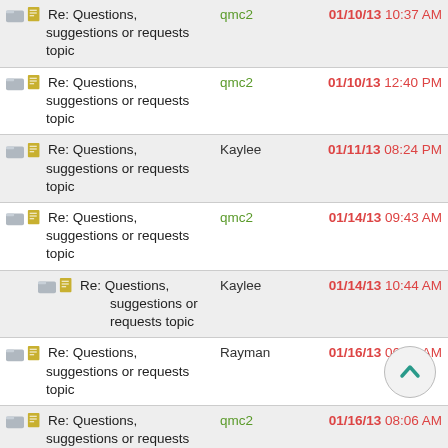Re: Questions, suggestions or requests topic | qmc2 | 01/10/13 10:37 AM
Re: Questions, suggestions or requests topic | qmc2 | 01/10/13 12:40 PM
Re: Questions, suggestions or requests topic | Kaylee | 01/11/13 08:24 PM
Re: Questions, suggestions or requests topic | qmc2 | 01/14/13 09:43 AM
Re: Questions, suggestions or requests topic | Kaylee | 01/14/13 10:44 AM
Re: Questions, suggestions or requests topic | Rayman | 01/16/13 06:06 AM
Re: Questions, suggestions or requests topic | qmc2 | 01/16/13 08:06 AM
Re: Questions, suggestions or requests topic | Shideravan | 01/16/13 01:24 PM
Re: Questions, suggestions or requests topic | qmc2 | 01/16/13 01:35 PM
Re: Questions, suggestions or requests topic | qmc2 | 01/16/13 02:45 PM